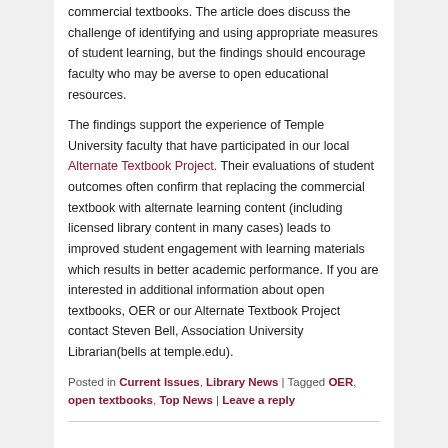commercial textbooks. The article does discuss the challenge of identifying and using appropriate measures of student learning, but the findings should encourage faculty who may be averse to open educational resources.
The findings support the experience of Temple University faculty that have participated in our local Alternate Textbook Project. Their evaluations of student outcomes often confirm that replacing the commercial textbook with alternate learning content (including licensed library content in many cases) leads to improved student engagement with learning materials which results in better academic performance. If you are interested in additional information about open textbooks, OER or our Alternate Textbook Project contact Steven Bell, Association University Librarian(bells at temple.edu).
Posted in Current Issues, Library News | Tagged OER, open textbooks, Top News | Leave a reply